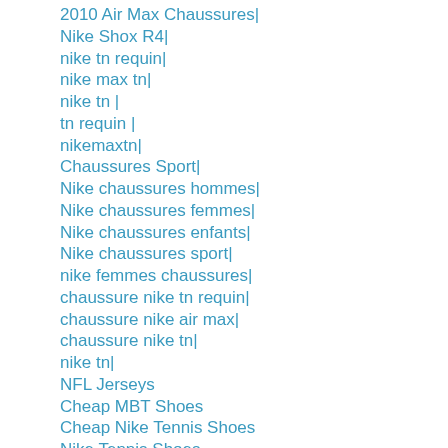2010 Air Max Chaussures|
Nike Shox R4|
nike tn requin|
nike max tn|
nike tn |
tn requin |
nikemaxtn|
Chaussures Sport|
Nike chaussures hommes|
Nike chaussures femmes|
Nike chaussures enfants|
Nike chaussures sport|
nike femmes chaussures|
chaussure nike tn requin|
chaussure nike air max|
chaussure nike tn|
nike tn|
NFL Jerseys
Cheap MBT Shoes
Cheap Nike Tennis Shoes
Nike Tennis Shoes
Tennis Racquet
Cheap Tennis Racquet